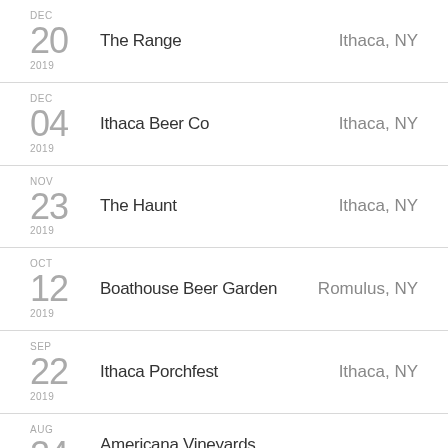DEC 20 2019 | The Range | Ithaca, NY
DEC 04 2019 | Ithaca Beer Co | Ithaca, NY
NOV 23 2019 | The Haunt | Ithaca, NY
OCT 12 2019 | Boathouse Beer Garden | Romulus, NY
SEP 22 2019 | Ithaca Porchfest | Ithaca, NY
AUG 24 2019 | Americana Vineyards Winery | Interlaken, NY